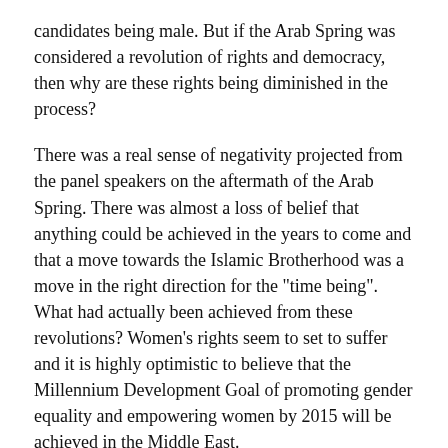candidates being male. But if the Arab Spring was considered a revolution of rights and democracy, then why are these rights being diminished in the process?
There was a real sense of negativity projected from the panel speakers on the aftermath of the Arab Spring. There was almost a loss of belief that anything could be achieved in the years to come and that a move towards the Islamic Brotherhood was a move in the right direction for the "time being". What had actually been achieved from these revolutions? Women's rights seem to set to suffer and it is highly optimistic to believe that the Millennium Development Goal of promoting gender equality and empowering women by 2015 will be achieved in the Middle East.
A year on and the Arab Spring seems to be losing its way, with the Muslim brotherhood rising. What future do we see for a conservative group, which in the past has been criticized by Western governments? The revolution may